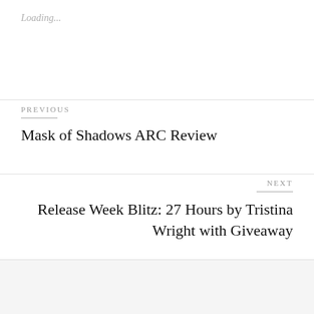Loading...
PREVIOUS
Mask of Shadows ARC Review
NEXT
Release Week Blitz: 27 Hours by Tristina Wright with Giveaway